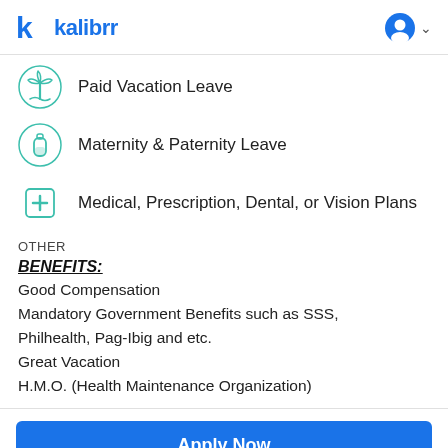kalibrr
Paid Vacation Leave
Maternity & Paternity Leave
Medical, Prescription, Dental, or Vision Plans
OTHER
BENEFITS:
Good Compensation
Mandatory Government Benefits such as SSS, Philhealth, Pag-Ibig and etc.
Great Vacation
H.M.O. (Health Maintenance Organization)
Apply Now